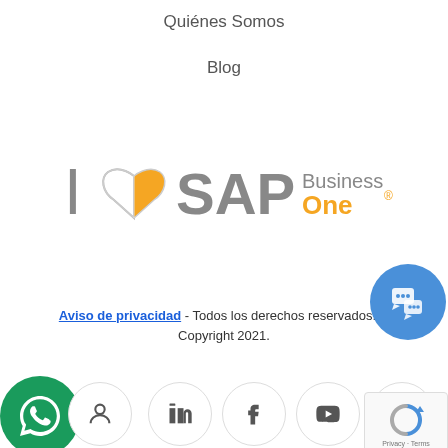Quiénes Somos
Blog
[Figure (logo): I Love SAP Business One logo — stylized letter I, orange and white heart icon, gray SAP text, and orange 'Business One' text]
Aviso de privacidad - Todos los derechos reservados. © Copyright 2021.
[Figure (infographic): Row of social media icon circles: Twitter/person, LinkedIn, Facebook, YouTube, YouTube; plus WhatsApp green circle button on bottom left, blue chat bubble on bottom right, and reCAPTCHA badge]